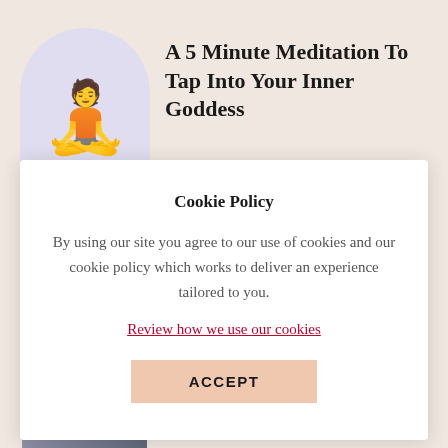A 5 Minute Meditation To Tap Into Your Inner Goddess
Cookie Policy
By using our site you agree to our use of cookies and our cookie policy which works to deliver an experience tailored to you.
Review how we use our cookies
ACCEPT